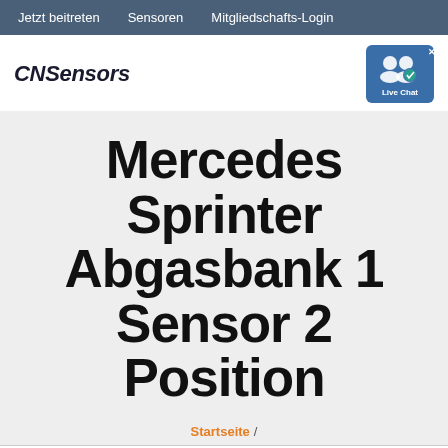Jetzt beitreten   Sensoren   Mitgliedschafts-Login
CNSensors
[Figure (illustration): Live Chat badge icon with two user silhouettes and a checkmark, labeled 'Live Chat']
Mercedes Sprinter Abgasbank 1 Sensor 2 Position
Startseite /
Get a Quote   WhatsApp   Chat Now